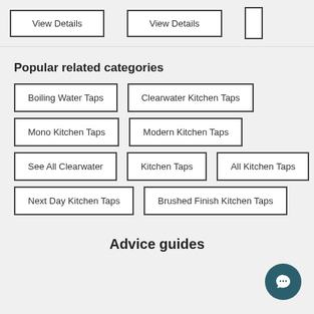View Details
View Details
Popular related categories
Boiling Water Taps
Clearwater Kitchen Taps
Mono Kitchen Taps
Modern Kitchen Taps
See All Clearwater
Kitchen Taps
All Kitchen Taps
Next Day Kitchen Taps
Brushed Finish Kitchen Taps
Advice guides